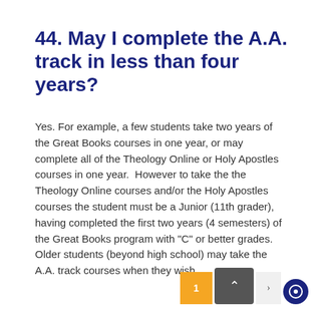44. May I complete the A.A. track in less than four years?
Yes. For example, a few students take two years of the Great Books courses in one year, or may complete all of the Theology Online or Holy Apostles courses in one year. However to take the the Theology Online courses and/or the Holy Apostles courses the student must be a Junior (11th grader), having completed the first two years (4 semesters) of the Great Books program with "C" or better grades. Older students (beyond high school) may take the A.A. track courses when they wish.